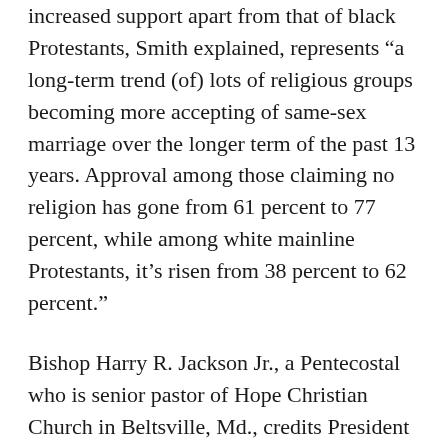increased support apart from that of black Protestants, Smith explained, represents “a long-term trend (of) lots of religious groups becoming more accepting of same-sex marriage over the longer term of the past 13 years. Approval among those claiming no religion has gone from 61 percent to 77 percent, while among white mainline Protestants, it’s risen from 38 percent to 62 percent.”
Bishop Harry R. Jackson Jr., a Pentecostal who is senior pastor of Hope Christian Church in Beltsville, Md., credits President Barack Obama’s 2012 support for same-sex marriage, announced